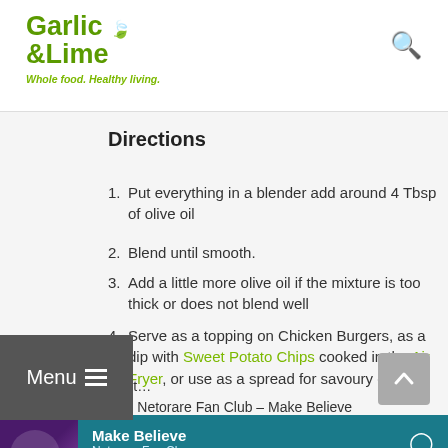Garlic & Lime — Whole food. Healthy living.
Directions
Put everything in a blender add around 4 Tbsp of olive oil
Blend until smooth.
Add a little more olive oil if the mixture is too thick or does not blend well
Serve as a topping on Chicken Burgers, as a dip with Sweet Potato Chips cooked in the Air Fryer, or use as a spread for savoury dishes.
Music to go with it…
Listen on Spotify: Netorare Fan Club – Make Believe
[Figure (screenshot): Spotify player bar showing 'Make Believe' by Netorare Fan Club with teal background and purple album art thumbnail]